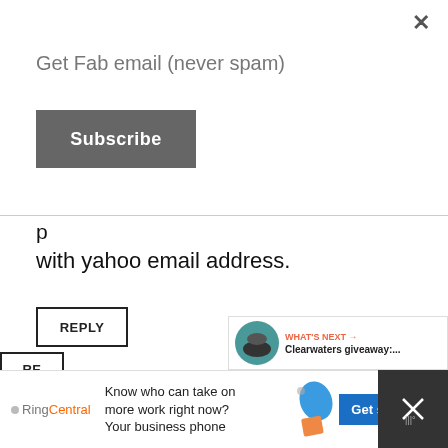Get Fab email (never spam)
Subscribe
with yahoo email address.
REPLY
Tiffany Pinnell
9/17/20, 7:28 PM
Yes I am interested in this product.
REPLY
Know who can take on more work right now? Your business phone
Get started
WHAT'S NEXT → Clearwaters giveaway:....